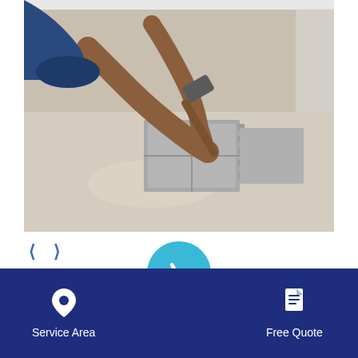[Figure (photo): Person kneeling on floor installing interlocking floor tiles with a hammer, concrete subfloor visible]
< >
You will never have to worry about a damp, moldy basement again. Our patented wall, ceiling, and floor systems, and other basement finishing products are
Service Area
Free Quote